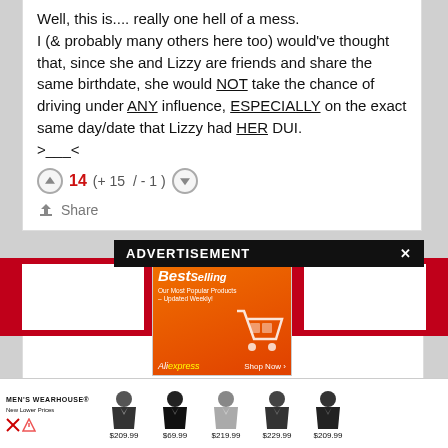Well, this is.... really one hell of a mess. I (& probably many others here too) would've thought that, since she and Lizzy are friends and share the same birthdate, she would NOT take the chance of driving under ANY influence, ESPECIALLY on the exact same day/date that Lizzy had HER DUI. >___<
14 (+ 15 / - 1 )
Share
[Figure (screenshot): ADVERTISEMENT banner with AliExpress Best Selling ad overlay]
[Figure (screenshot): Men's Wearhouse advertisement showing suits at prices $209.99, $69.99, $219.99, $229.99, $209.99]